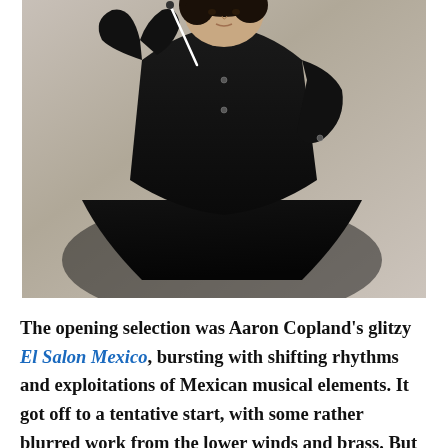[Figure (photo): A man in a black shirt seated, holding a conductor's baton, with dark curly hair, photographed against a light wall background.]
The opening selection was Aaron Copland's glitzy El Salon Mexico, bursting with shifting rhythms and exploitations of Mexican musical elements. It got off to a tentative start, with some rather blurred work from the lower winds and brass. But even as the